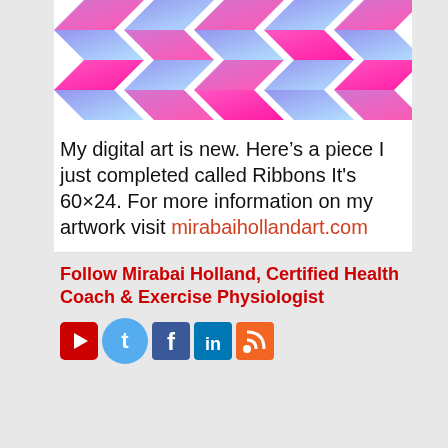[Figure (illustration): Digital art piece called Ribbons showing interlocking pink, magenta and blue ribbon shapes arranged in a pattern against white background. Size 60x24.]
My digital art is new. Here’s a piece I just completed called Ribbons It's 60×24. For more information on my artwork visit mirabaihollandart.com
Follow Mirabai Holland, Certified Health Coach & Exercise Physiologist
[Figure (infographic): Social media icons: YouTube, Twitter, Facebook, LinkedIn, RSS feed]